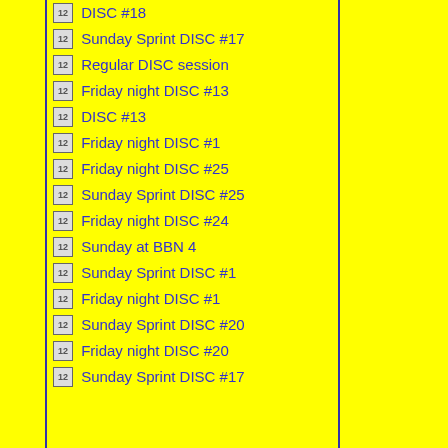DISC #18
Sunday Sprint DISC #17
Regular DISC session
Friday night DISC #13
DISC #13
Friday night DISC #1
Friday night DISC #25
Sunday Sprint DISC #25
Friday night DISC #24
Sunday at BBN 4
Sunday Sprint DISC #1
Friday night DISC #1
Sunday Sprint DISC #20
Friday night DISC #20
Sunday Sprint DISC #17